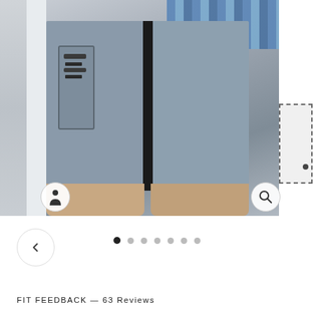[Figure (photo): Product photo of gray athletic shorts with black center stripe and zipper side pocket, worn by a person with a blue plaid shirt. Left strip shows additional product views, right side shows dashed thumbnail box.]
FIT FEEDBACK — 63 Reviews